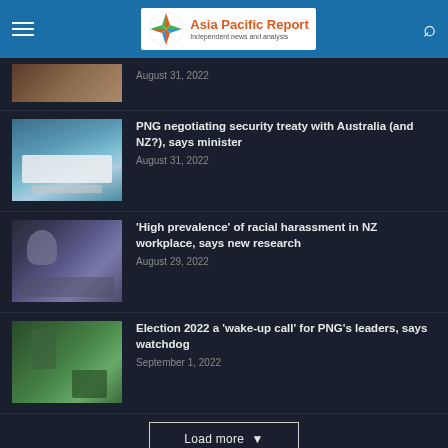Asia Pacific Report — Independent news and analysis
August 31, 2022
PNG negotiating security treaty with Australia (and NZ?), says minister
August 31, 2022
'High prevalence' of racial harassment in NZ workplace, says new research
August 29, 2022
Election 2022 a 'wake-up call' for PNG's leaders, says watchdog
September 1, 2022